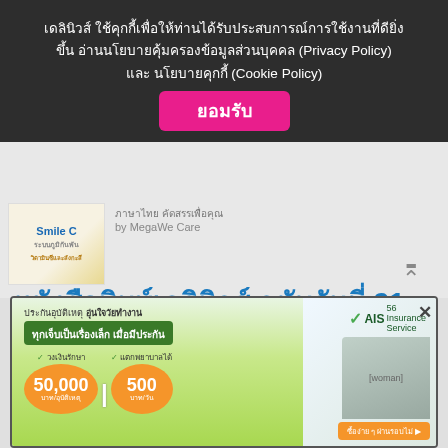เดลินิวส์ ใช้คุกกี้เพื่อให้ท่านได้รับประสบการณ์การใช้งานที่ดียิ่งขึ้น อ่านนโยบายคุ้มครองข้อมูลส่วนบุคคล (Privacy Policy) และ นโยบายคุกกี้ (Cookie Policy)
ยอมรับ
[Figure (photo): Product image of Smile C supplement box]
by MegaWe Care
หนังสือพิมพ์เดลินิวส์ ฉบับวันที่ 21 พ.ย.2564 (กรอบ 6 ดาว)
[Figure (photo): AIS Insurance Service advertisement banner showing accident insurance with coverage up to 50,000 baht per incident and 500 baht per day, featuring a woman with raised fist]